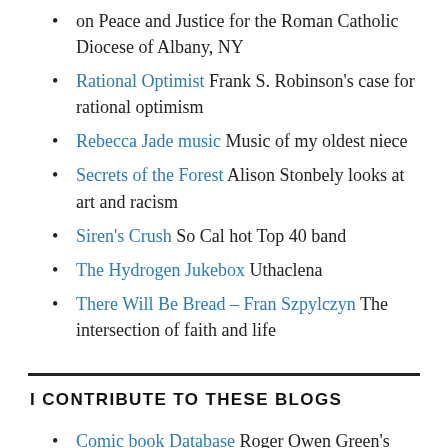on Peace and Justice for the Roman Catholic Diocese of Albany, NY
Rational Optimist Frank S. Robinson’s case for rational optimism
Rebecca Jade music Music of my oldest niece
Secrets of the Forest Alison Stonbely looks at art and racism
Siren's Crush So Cal hot Top 40 band
The Hydrogen Jukebox Uthaclena
There Will Be Bread – Fran Szpylczyn The intersection of faith and life
I CONTRIBUTE TO THESE BLOGS
Comic book Database Roger Owen Green’s